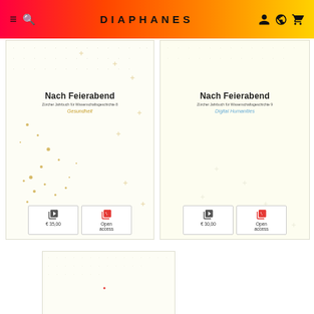DIAPHANES
[Figure (screenshot): Book cover 1: Nach Feierabend, Zürcher Jahrbuch für Wissenschaftsgeschichte 8, Gesundheit, with dot-pattern artwork and gold scattered dots on white/cream background. Price: € 35,00. Open access available.]
[Figure (screenshot): Book cover 2: Nach Feierabend, Zürcher Jahrbuch für Wissenschaftsgeschichte 9, Digital Humanities, with minimal dot-pattern on cream/white background. Price: € 30,00. Open access available.]
[Figure (screenshot): Partial book cover 3 (cropped at bottom of page), cream/white with grid pattern, partially visible.]